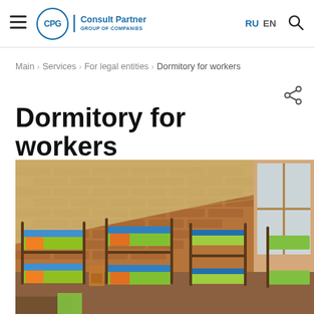CPG | Consult Partner GROUP OF COMPANIES | RU EN
Main > Services > For legal entities > Dormitory for workers
Dormitory for workers
[Figure (photo): Interior of a dormitory room with multiple metal bunk beds with colorful bedding, brick walls, wood-paneled ceiling, and large windows on the right side.]